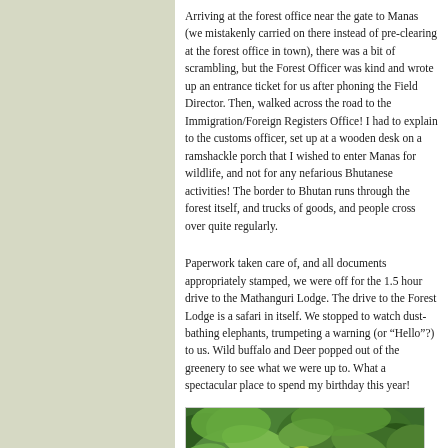Arriving at the forest office near the gate to Manas (we mistakenly carried on there instead of pre-clearing at the forest office in town), there was a bit of scrambling, but the Forest Officer was kind and wrote up an entrance ticket for us after phoning the Field Director. Then, walked across the road to the Immigration/Foreign Registers Office! I had to explain to the customs officer, set up at a wooden desk on a ramshackle porch that I wished to enter Manas for wildlife, and not for any nefarious Bhutanese activities! The border to Bhutan runs through the forest itself, and trucks of goods, and people cross over quite regularly.
Paperwork taken care of, and all documents appropriately stamped, we were off for the 1.5 hour drive to the Mathanguri Lodge. The drive to the Forest Lodge is a safari in itself. We stopped to watch dust-bathing elephants, trumpeting a warning (or “Hello”?) to us. Wild buffalo and Deer popped out of the greenery to see what we were up to. What a spectacular place to spend my birthday this year!
[Figure (photo): A deer or small ungulate peeking through dense green foliage, looking directly at the camera. The animal's face is visible among lush tropical vegetation.]